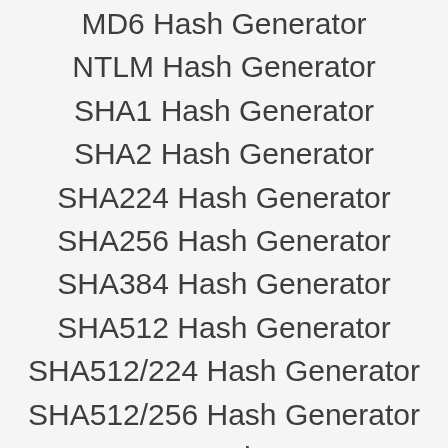MD6 Hash Generator
NTLM Hash Generator
SHA1 Hash Generator
SHA2 Hash Generator
SHA224 Hash Generator
SHA256 Hash Generator
SHA384 Hash Generator
SHA512 Hash Generator
SHA512/224 Hash Generator
SHA512/256 Hash Generator
SHA3-224 Hash Generator
SHA3-256 Hash Generator